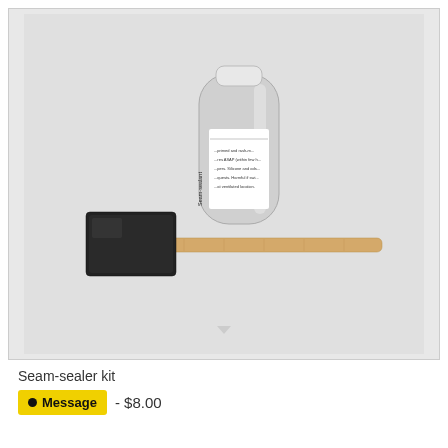[Figure (photo): A seam-sealer kit product photo showing a small cylindrical bottle labeled 'Seam-sealant' and a foam applicator brush with a wooden handle, photographed on a light gray background.]
Seam-sealer kit
Message - $8.00